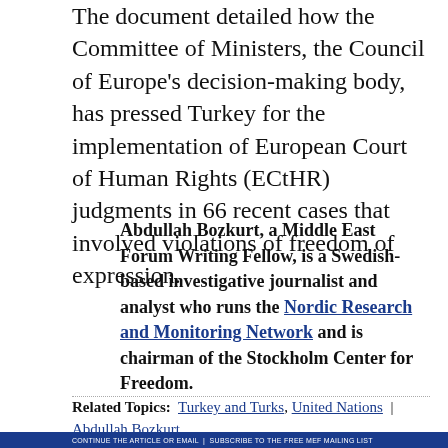The document detailed how the Committee of Ministers, the Council of Europe's decision-making body, has pressed Turkey for the implementation of European Court of Human Rights (ECtHR) judgments in 66 recent cases that involved violations of freedom of expression.
Abdullah Bozkurt, a Middle East Forum Writing Fellow, is a Swedish-based investigative journalist and analyst who runs the Nordic Research and Monitoring Network and is chairman of the Stockholm Center for Freedom.
Related Topics: Turkey and Turks, United Nations | Abdullah Bozkurt
CONTINUE THE ARTICLE OR EMAIL | SUBSCRIBE TO THE FREE MEF MAILING LIST